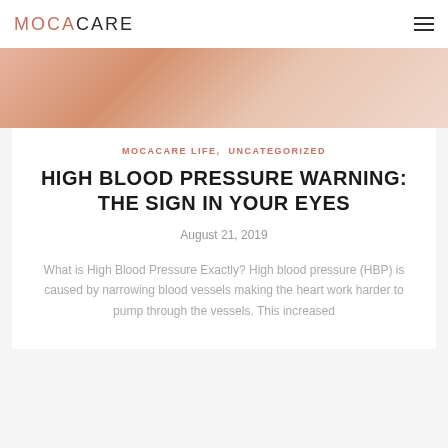MOCACARE
[Figure (photo): Close-up photograph of skin texture, pinkish-beige tone]
MOCACARE LIFE, UNCATEGORIZED
HIGH BLOOD PRESSURE WARNING: THE SIGN IN YOUR EYES
August 21, 2019
What is High Blood Pressure Exactly? High blood pressure (HBP) is caused by narrowing blood vessels making the heart work harder to pump through the vessels. This increased